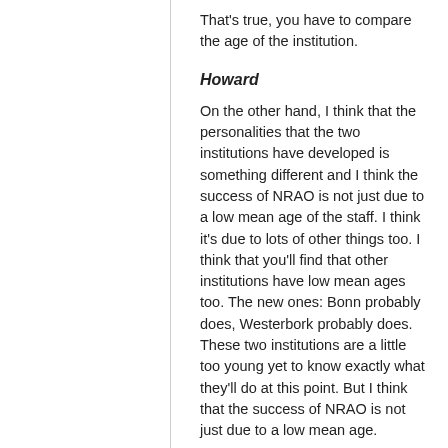That's true, you have to compare the age of the institution.
Howard
On the other hand, I think that the personalities that the two institutions have developed is something different and I think the success of NRAO is not just due to a low mean age of the staff. I think it's due to lots of other things too. I think that you'll find that other institutions have low mean ages too. The new ones: Bonn probably does, Westerbork probably does. These two institutions are a little too young yet to know exactly what they'll do at this point. But I think that the success of NRAO is not just due to a low mean age.
Sullivan
What is the ratio between permanent staff and postdocs and that sort of thing?
Howard